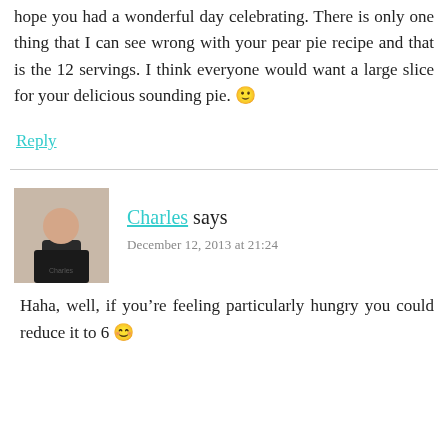hope you had a wonderful day celebrating. There is only one thing that I can see wrong with your pear pie recipe and that is the 12 servings. I think everyone would want a large slice for your delicious sounding pie. 🙂
Reply
[Figure (photo): Avatar photo of commenter Charles, a person wearing a dark hoodie]
Charles says
December 12, 2013 at 21:24
Haha, well, if you're feeling particularly hungry you could reduce it to 6 😊